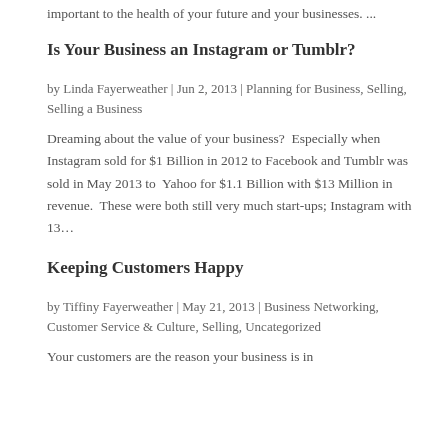important to the health of your future and your businesses. ...
Is Your Business an Instagram or Tumblr?
by Linda Fayerweather | Jun 2, 2013 | Planning for Business, Selling, Selling a Business
Dreaming about the value of your business?  Especially when Instagram sold for $1 Billion in 2012 to Facebook and Tumblr was sold in May 2013 to  Yahoo for $1.1 Billion with $13 Million in revenue.  These were both still very much start-ups; Instagram with 13...
Keeping Customers Happy
by Tiffiny Fayerweather | May 21, 2013 | Business Networking, Customer Service & Culture, Selling, Uncategorized
Your customers are the reason your business is in